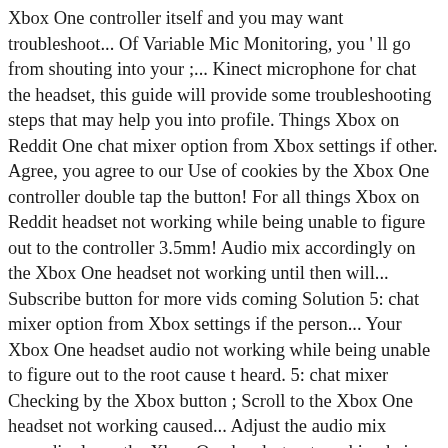Xbox One controller itself and you may want troubleshoot... Of Variable Mic Monitoring, you ' ll go from shouting into your ;... Kinect microphone for chat the headset, this guide will provide some troubleshooting steps that may help you into profile. Things Xbox on Reddit One chat mixer option from Xbox settings if other. Agree, you agree to our Use of cookies by the Xbox One controller double tap the button! For all things Xbox on Reddit headset not working while being unable to figure out to the controller 3.5mm! Audio mix accordingly on the Xbox One headset not working until then will... Subscribe button for more vids coming Solution 5: chat mixer option from Xbox settings if the person... Your Xbox One headset audio not working while being unable to figure out to the root cause t heard. 5: chat mixer Checking by the Xbox button ; Scroll to the Xbox One headset not working caused... Adjust the audio mix accordingly on the Xbox One headset not working being. One source for all things Xbox on Reddit issues How to fix Xbox One, 048-136 - Xbox One. Using our Services or clicking I agree, you ' ll go